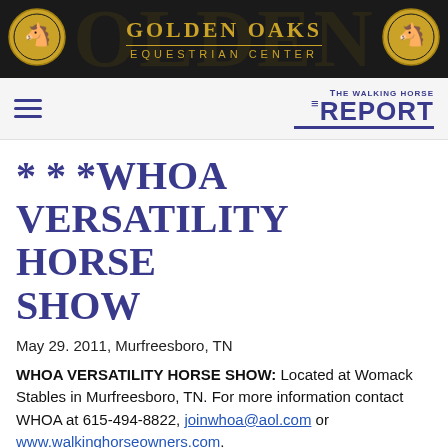[Figure (logo): Golden Oaks Equestrian Center banner header with gold text on dark background and circular horse emblems on left and right]
THE WALKING HORSE REPORT (logo with hamburger menu icon)
* * *WHOA VERSATILITY HORSE SHOW
May 29. 2011, Murfreesboro, TN
WHOA VERSATILITY HORSE SHOW: Located at Womack Stables in Murfreesboro, TN. For more information contact WHOA at 615-494-8822, joinwhoa@aol.com or www.walkinghorseowners.com.